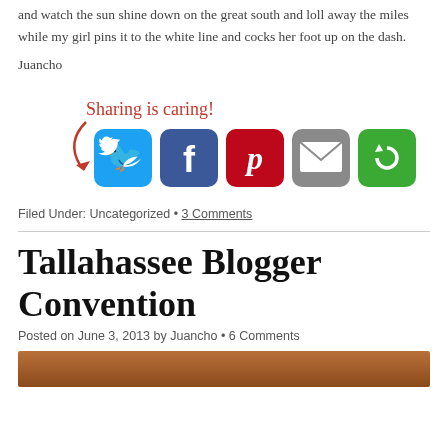and watch the sun shine down on the great south and loll away the miles while my girl pins it to the white line and cocks her foot up on the dash.
Juancho
[Figure (infographic): Sharing is caring! social share buttons: Twitter, Facebook, Pinterest, Email, and More Options (green circular arrow icon)]
Filed Under: Uncategorized • 3 Comments
Tallahassee Blogger Convention
Posted on June 3, 2013 by Juancho • 6 Comments
[Figure (photo): Partial preview image at bottom of page, showing warm brown/orange tones]